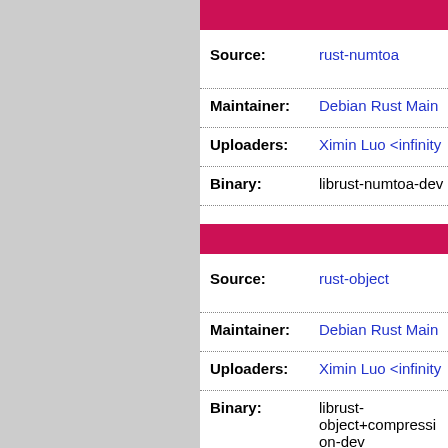| Field | Value |
| --- | --- |
| Source: | rust-numtoa |
| Maintainer: | Debian Rust Main |
| Uploaders: | Ximin Luo <infinity |
| Binary: | librust-numtoa-dev |
| Field | Value |
| --- | --- |
| Source: | rust-object |
| Maintainer: | Debian Rust Main |
| Uploaders: | Ximin Luo <infinity |
| Binary: | librust-object+compression-dev |
| Binary: | librust-object+default-dev |
| Binary: | librust-object+pari-wasm-dev |
| Binary: | librust-object+std |